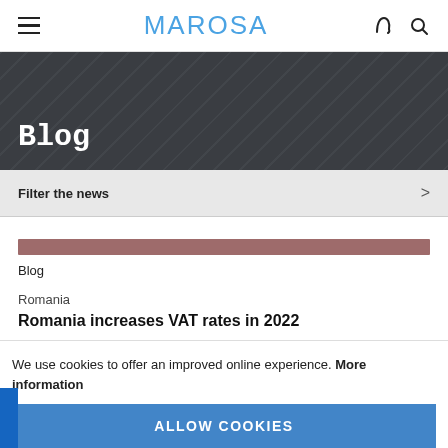MAROSA
Blog
Filter the news
Blog
Romania
Romania increases VAT rates in 2022
We use cookies to offer an improved online experience. More information
ALLOW COOKIES